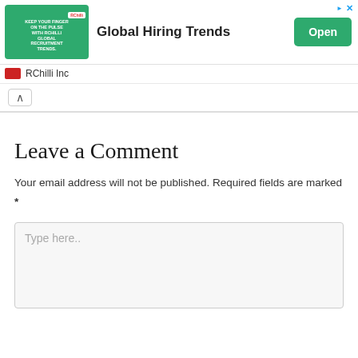[Figure (screenshot): Advertisement banner for RChilli Inc featuring 'Global Hiring Trends' with a green Open button and close/sponsored icons]
RChilli Inc
^
Leave a Comment
Your email address will not be published. Required fields are marked *
Type here..